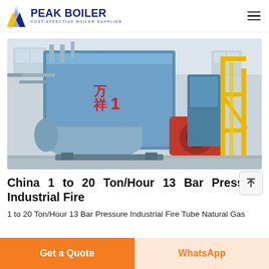PEAK BOILER — COST-EFFECTIVE BOILER SUPPLIER
[Figure (photo): Industrial fire tube natural gas boiler — large blue cylindrical boiler body with red burner assembly and yellow support frame, installed in a factory setting.]
China 1 to 20 Ton/Hour 13 Bar Pressure Industrial Fire
1 to 20 Ton/Hour 13 Bar Pressure Industrial Fire Tube Natural Gas